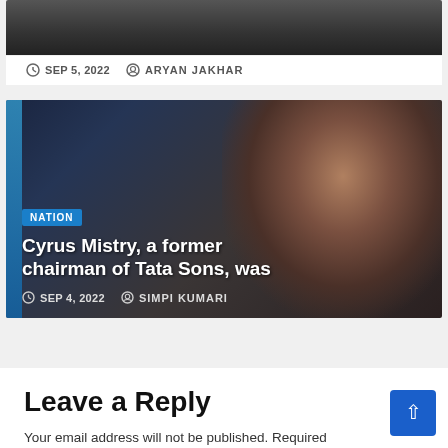[Figure (photo): Top portion of a dark car-related article image, partially visible at top of page]
SEP 5, 2022   ARYAN JAKHAR
[Figure (photo): Portrait photo of Cyrus Mistry, former chairman of Tata Sons, a man in a dark suit with glasses, against a dark background with blue vertical bar on left]
NATION
Cyrus Mistry, a former chairman of Tata Sons, was
SEP 4, 2022   SIMPI KUMARI
Leave a Reply
Your email address will not be published. Required